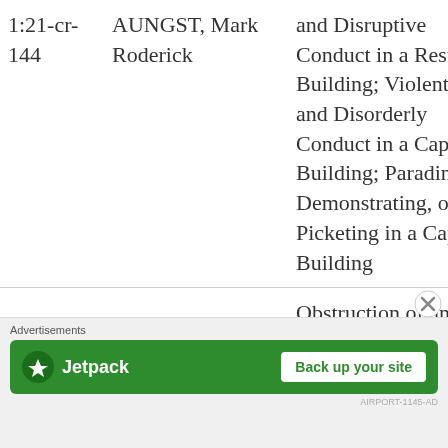| Case | Name | Charges |
| --- | --- | --- |
| 1:21-cr-144 | AUNGST, Mark Roderick | and Disruptive Conduct in a Restrict Building; Violent Ent and Disorderly Conduct in a Capitol Building; Parading, Demonstrating, or Picketing in a Capito Building |
|  |  | Obstruction of an Official Proceeding a Aiding and Abetting; Entering a... |
[Figure (infographic): Jetpack advertisement banner with 'Back up your site' button and close (X) button overlay]